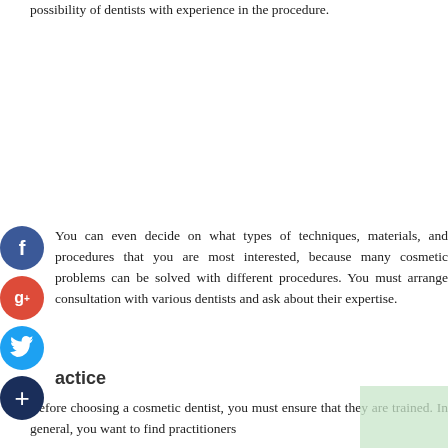possibility of dentists with experience in the procedure.
You can even decide on what types of techniques, materials, and procedures that you are most interested, because many cosmetic problems can be solved with different procedures. You must arrange consultation with various dentists and ask about their expertise.
actice
Before choosing a cosmetic dentist, you must ensure that they are trained. In general, you want to find practitioners